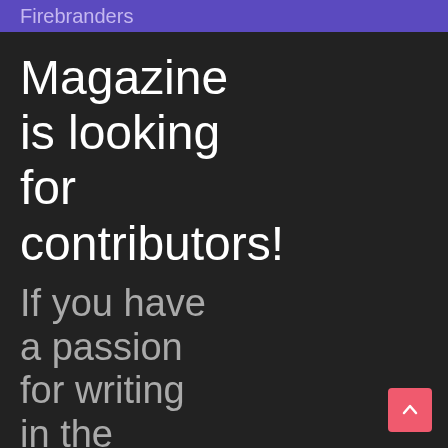Firebranders
Magazine
is looking
for
contributors!
If you have
a passion
for writing
in the
spiritual
genre,
[Figure (other): Pink/red scroll-to-top button with upward chevron arrow in bottom-right corner]